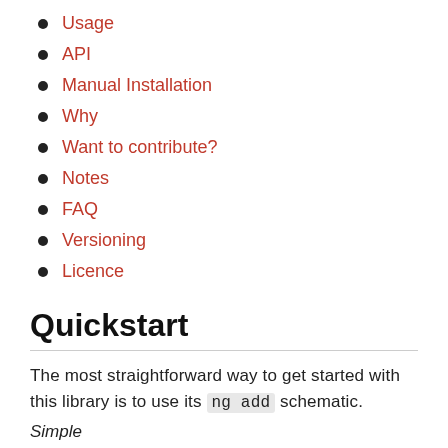Usage
API
Manual Installation
Why
Want to contribute?
Notes
FAQ
Versioning
Licence
Quickstart
The most straightforward way to get started with this library is to use its ng add schematic.
Simple